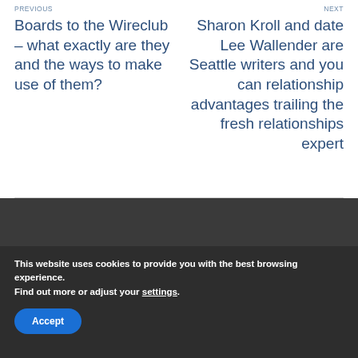PREVIOUS
NEXT
Boards to the Wireclub – what exactly are they and the ways to make use of them?
Sharon Kroll and date Lee Wallender are Seattle writers and you can relationship advantages trailing the fresh relationships expert
This website uses cookies to provide you with the best browsing experience.
Find out more or adjust your settings.
Accept